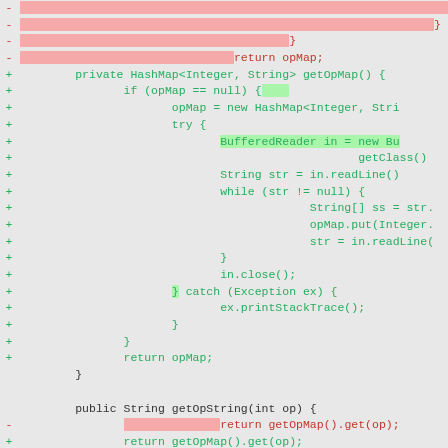[Figure (screenshot): Code diff showing Java source file changes. Red lines (prefixed with -) show removed code highlighted in pink, green lines (prefixed with +) show added code. The diff shows a getOpMap() method refactoring, a getOpString() method change, and the beginning of a describeOpCode() method.]